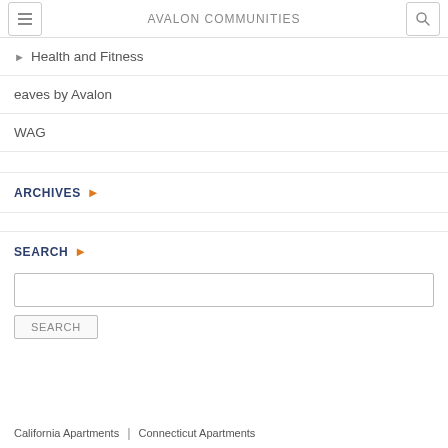AVALON COMMUNITIES
Health and Fitness
eaves by Avalon
WAG
ARCHIVES
SEARCH
California Apartments | Connecticut Apartments